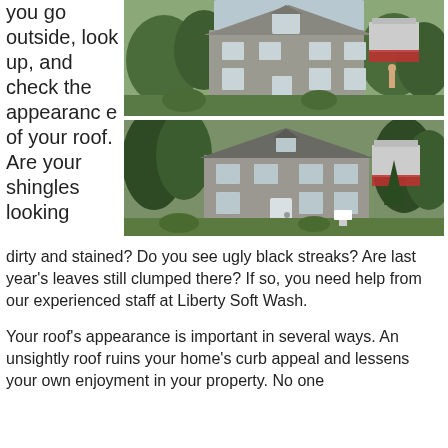you go outside, look up, and check the appearance of your roof. Are your shingles looking dirty and stained? Do you see ugly black streaks? Are last year's leaves still clumped there? If so, you need help from our experienced staff at Liberty Soft Wash.
[Figure (photo): Photograph of a stone house exterior, front view with trees and garden]
[Figure (photo): Photograph of the same stone house exterior from a slightly different angle, showing roof and garden]
dirty and stained? Do you see ugly black streaks? Are last year's leaves still clumped there? If so, you need help from our experienced staff at Liberty Soft Wash.
Your roof's appearance is important in several ways. An unsightly roof ruins your home's curb appeal and lessens your own enjoyment in your property. No one